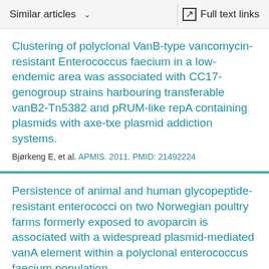Similar articles  ∨   Full text links
Clustering of polyclonal VanB-type vancomycin-resistant Enterococcus faecium in a low-endemic area was associated with CC17-genogroup strains harbouring transferable vanB2-Tn5382 and pRUM-like repA containing plasmids with axe-txe plasmid addiction systems.
Bjørkeng E, et al. APMIS. 2011. PMID: 21492224
Persistence of animal and human glycopeptide-resistant enterococci on two Norwegian poultry farms formerly exposed to avoparcin is associated with a widespread plasmid-mediated vanA element within a polyclonal enterococcus faecium population.